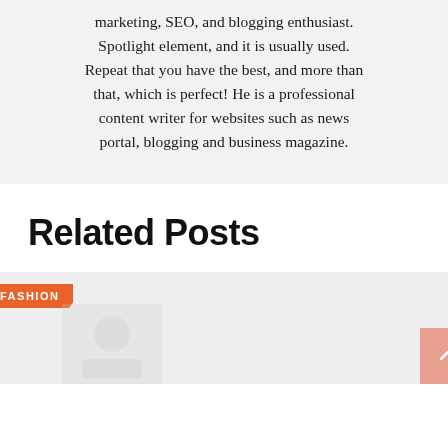marketing, SEO, and blogging enthusiast. Spotlight element, and it is usually used. Repeat that you have the best, and more than that, which is perfect! He is a professional content writer for websites such as news portal, blogging and business magazine.
Related Posts
[Figure (other): Card image placeholder area with orange FASHION category badge and light gray background, with scroll-to-top button in bottom right corner]